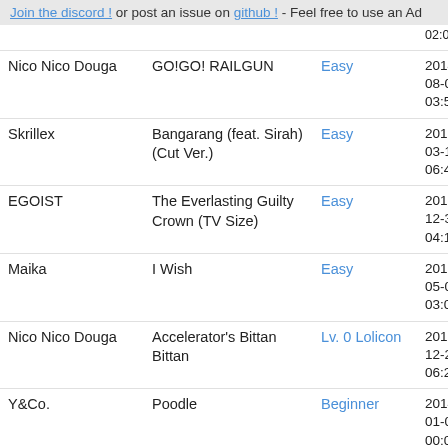Join the discord ! or post an issue on github ! - Feel free to use an Ad
| Artist | Song | Difficulty | Date |
| --- | --- | --- | --- |
| Nico Nico Douga | GO!GO! RAILGUN | Easy | 2014-08-02 DT 03:58:47 |
| Skrillex | Bangarang (feat. Sirah) (Cut Ver.) | Easy | 2013-03-12 PF 06:48:00 |
| EGOIST | The Everlasting Guilty Crown (TV Size) | Easy | 2013-12-31 PF 04:13:21 |
| Maika | I Wish | Easy | 2013-05-07 PF 03:09:10 |
| Nico Nico Douga | Accelerator's Bittan Bittan | Lv. 0 Lolicon | 2013-12-23 DT 06:24:51 |
| Y&Co. | Poodle | Beginner | 2014-01-02 PF 00:09:22 |
| Chihara Minori (Nagato Yuki) | Yuki, Muon, Madobe Nite | Easy | 2013-12-14 PF 04:07:04 |
|  |  |  | 2013- |